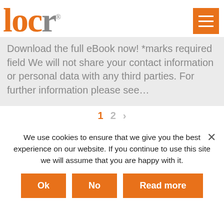locr®
Download the full eBook now! *marks required field We will not share your contact information or personal data with any third parties. For further information please see…
We use cookies to ensure that we give you the best experience on our website. If you continue to use this site we will assume that you are happy with it.